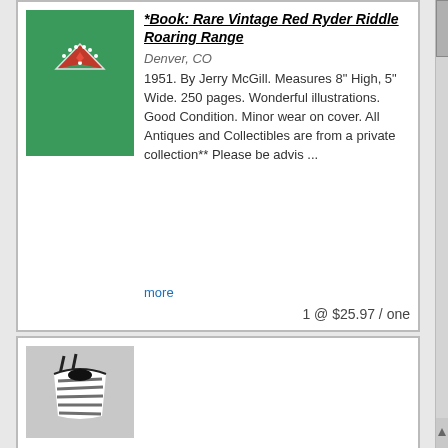[Figure (photo): Green book cover with decorative design]
*Book: Rare Vintage Red Ryder Riddle Roaring Range
Denver, CO
1951. By Jerry McGill. Measures 8" High, 5" Wide. 250 pages. Wonderful illustrations. Good Condition. Minor wear on cover. All Antiques and Collectibles are from a private collection** Please be advis ...
more
1 @ $25.97 / one
[Figure (photo): Black and white zebra-striped swimsuit]